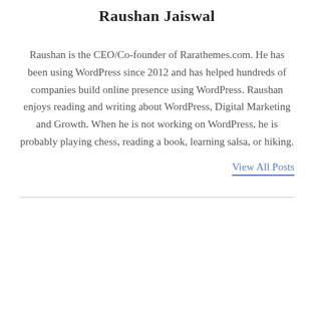Raushan Jaiswal
Raushan is the CEO/Co-founder of Rarathemes.com. He has been using WordPress since 2012 and has helped hundreds of companies build online presence using WordPress. Raushan enjoys reading and writing about WordPress, Digital Marketing and Growth. When he is not working on WordPress, he is probably playing chess, reading a book, learning salsa, or hiking.
View All Posts